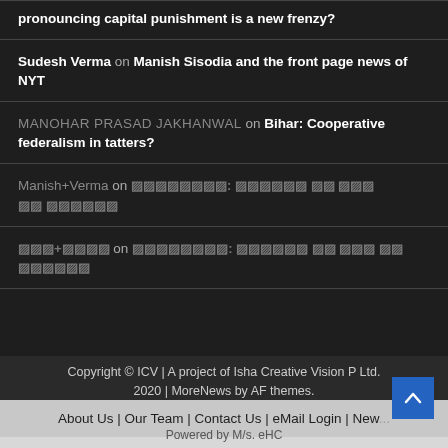pronouncing capital punishment is a new frenzy?
Sudesh Verma on Manish Sisodia and the front page news of NYT
MANOHAR PRASAD JAKHANWAL on Bihar: Cooperative federalism in tatters?
Manish+Verma on [Hindi text]
[Hindi author] on [Hindi text]
Copyright © ICV | A project of Isha Creative Vision P Ltd. 2020 | MoreNews by AF themes.
About Us | Our Team | Contact Us | eMail Login | New...
Powered by M/s. eHC